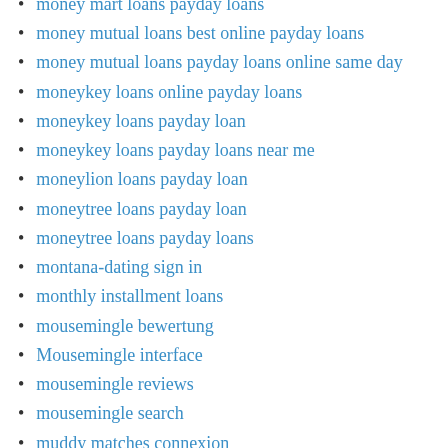money mart loans payday loans
money mutual loans best online payday loans
money mutual loans payday loans online same day
moneykey loans online payday loans
moneykey loans payday loan
moneykey loans payday loans near me
moneylion loans payday loan
moneytree loans payday loan
moneytree loans payday loans
montana-dating sign in
monthly installment loans
mousemingle bewertung
Mousemingle interface
mousemingle reviews
mousemingle search
muddy matches connexion
muddy matches gratuit